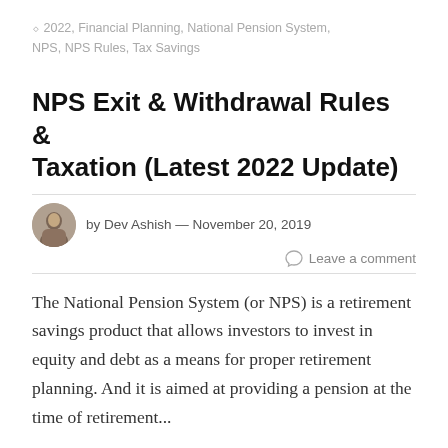2022, Financial Planning, National Pension System, NPS, NPS Rules, Tax Savings
NPS Exit & Withdrawal Rules & Taxation (Latest 2022 Update)
by Dev Ashish — November 20, 2019
Leave a comment
The National Pension System (or NPS) is a retirement savings product that allows investors to invest in equity and debt as a means for proper retirement planning. And it is aimed at providing a pension at the time of retirement...